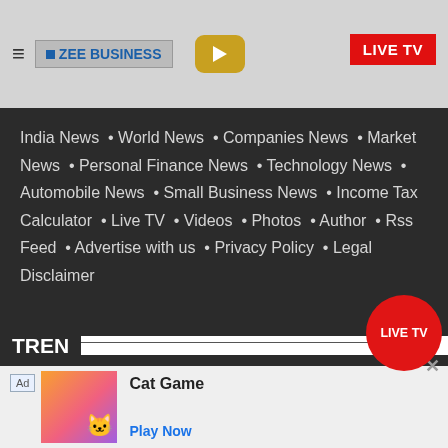ZEE BUSINESS | LIVE TV
India News • World News • Companies News • Market News • Personal Finance News • Technology News • Automobile News • Small Business News • Income Tax Calculator • Live TV • Videos • Photos • Author • Rss Feed • Advertise with us • Privacy Policy • Legal Disclaimer
LATEST TRENDING UPDATES
EPFO | Budget 2020 | Income Tax Return | …po 2020 | Home Loan | Business News |
[Figure (screenshot): LIVE TV red circle button overlay]
Ad Cat Game Play Now